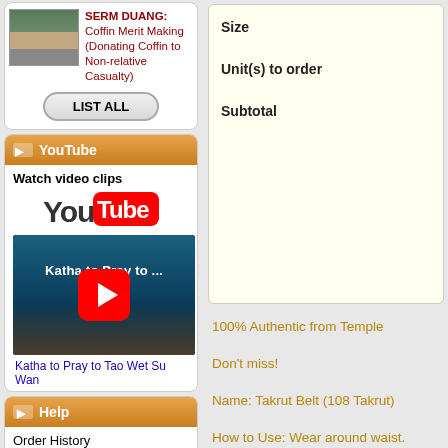SERM DUANG: Coffin Merit Making (Donating Coffin to Non-relative Casualty)
LIST ALL
YouTube
Watch video clips
[Figure (screenshot): YouTube logo and video thumbnail showing 'Katha to Pray to ...' with red play button]
Katha to Pray to Tao Wet Su Wan
Help
Order History
Shipping
Size
Unit(s) to order
Subtotal
100% Authentic from Temple
Don't miss!
Name: Takrut Belt (108 Takrut)
How to Use: Wear around waist.